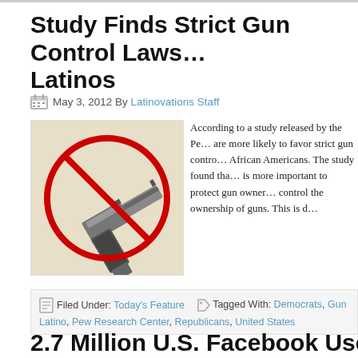Study Finds Strict Gun Control Laws … Latinos
May 3, 2012 By Latinovations Staff
[Figure (photo): Photo of a handgun with a red prohibition circle/slash overlaid on it]
According to a study released by the Pe… are more likely to favor strict gun contro… African Americans. The study found tha… is more important to protect gun owner… control the ownership of guns. This is d…
Filed Under: Today's Feature   Tagged With: Democrats, Gun Contr… Latino, Pew Research Center, Republicans, United States
2.7 Million U.S. Facebook Users spea…